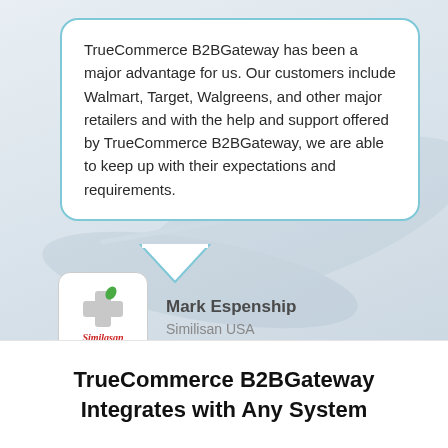TrueCommerce B2BGateway has been a major advantage for us. Our customers include Walmart, Target, Walgreens, and other major retailers and with the help and support offered by TrueCommerce B2BGateway, we are able to keep up with their expectations and requirements.
Mark Espenship
Similisan USA
TrueCommerce B2BGateway Integrates with Any System